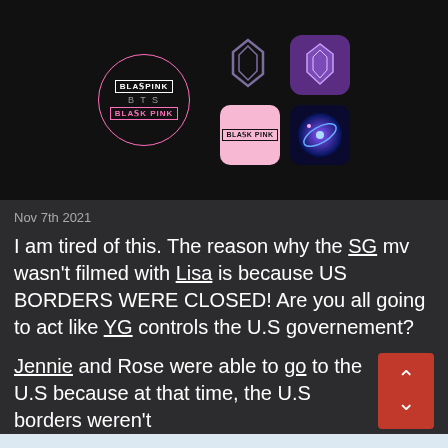[Figure (screenshot): Screenshot showing BLACKPINK and BTS logos/icons on a black background, including a circular BLACKPINK logo, BTS wing logos in outline and purple, a pink BLACKPINK app icon, and a galaxy-themed logo.]
Nov 7th 2021
I am tired of this. The reason why the SG mv wasn't filmed with Lisa is because US BORDERS WERE CLOSED! Are you all going to act like YG controls the U.S governement?
Jennie and Rose were able to go to the U.S because at that time, the U.S borders weren't
This site uses cookies. By continuing to browse this site, you are agreeing to our use of cookies.
More Details   Close